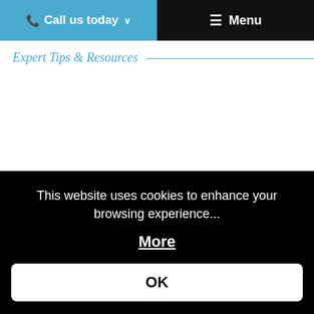Call us today   Menu
Expert Tips & Resources
This website uses cookies to enhance your browsing experience...
More
OK